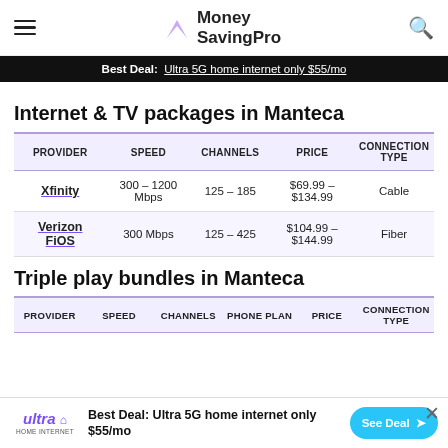Money SavingPro
Best Deal: Ultra 5G home internet only $55/mo
Internet & TV packages in Manteca
| PROVIDER | SPEED | CHANNELS | PRICE | CONNECTION TYPE |
| --- | --- | --- | --- | --- |
| Xfinity | 300 – 1200 Mbps | 125 – 185 | $69.99 – $134.99 | Cable |
| Verizon FiOS | 300 Mbps | 125 – 425 | $104.99 – $144.99 | Fiber |
Triple play bundles in Manteca
| PROVIDER | SPEED | CHANNELS | PHONE PLAN | PRICE | CONNECTION TYPE |
| --- | --- | --- | --- | --- | --- |
Best Deal: Ultra 5G home internet only $55/mo